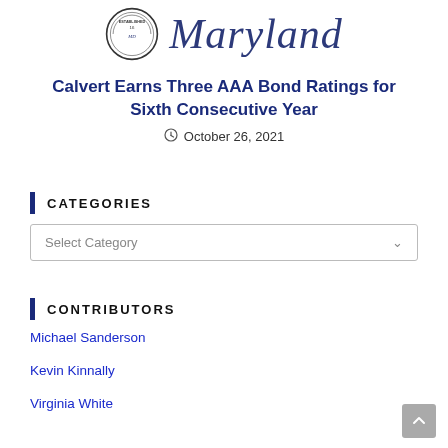[Figure (logo): Maryland state seal and Maryland script logo in dark blue]
Calvert Earns Three AAA Bond Ratings for Sixth Consecutive Year
October 26, 2021
CATEGORIES
Select Category
CONTRIBUTORS
Michael Sanderson
Kevin Kinnally
Virginia White